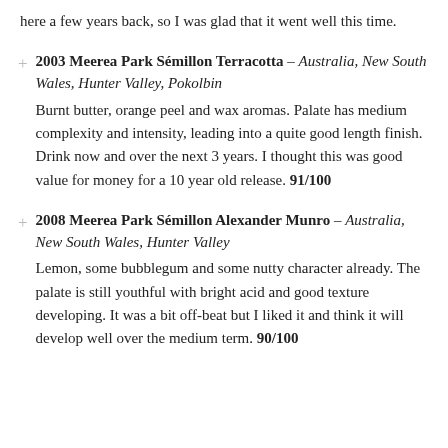here a few years back, so I was glad that it went well this time.
2003 Meerea Park Sémillon Terracotta – Australia, New South Wales, Hunter Valley, Pokolbin Burnt butter, orange peel and wax aromas. Palate has medium complexity and intensity, leading into a quite good length finish. Drink now and over the next 3 years. I thought this was good value for money for a 10 year old release. 91/100
2008 Meerea Park Sémillon Alexander Munro – Australia, New South Wales, Hunter Valley Lemon, some bubblegum and some nutty character already. The palate is still youthful with bright acid and good texture developing. It was a bit off-beat but I liked it and think it will develop well over the medium term. 90/100